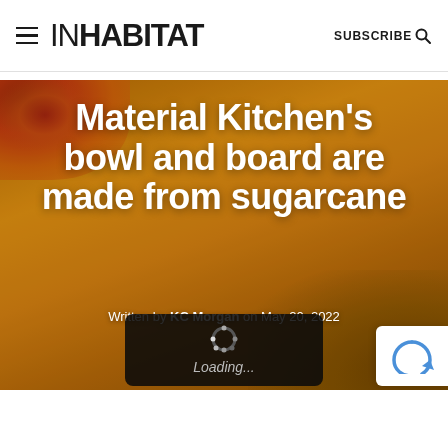INHABITAT  SUBSCRIBE
[Figure (photo): Hero image showing a yellow/orange sugarcane cutting board with kitchen utensils including a spatula and cylindrical tool, with pizza visible at the top left. White bold text overlaid reads 'Material Kitchen's bowl and board are made from sugarcane'. Byline: Written by KC Morgan on May 20, 2022. A loading spinner overlay appears at the bottom center, and a reCAPTCHA badge at the bottom right.]
Material Kitchen's bowl and board are made from sugarcane
Written by KC Morgan on May 20, 2022